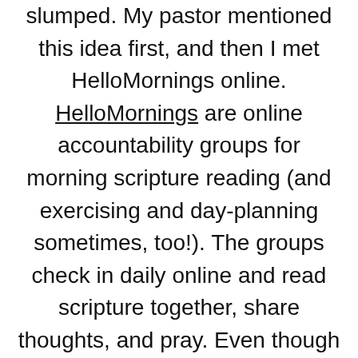slumped. My pastor mentioned this idea first, and then I met HelloMornings online. HelloMornings are online accountability groups for morning scripture reading (and exercising and day-planning sometimes, too!). The groups check in daily online and read scripture together, share thoughts, and pray. Even though we are spread across many states, we invest in one another's lives and encourage and uplift each other. It is a great community and it has profoundly impacted me this summer. I am so stoked that the fall session starts TODAY! I'm afraid all of the fall groups are full, but keep an eye on their blog